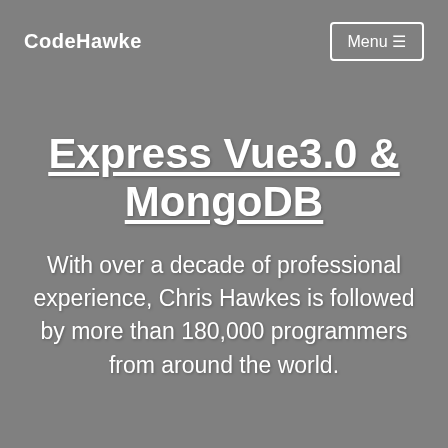CodeHawke
Express Vue3.0 & MongoDB
With over a decade of professional experience, Chris Hawkes is followed by more than 180,000 programmers from around the world.